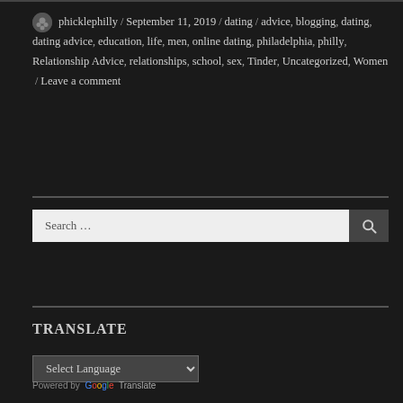phicklephilly / September 11, 2019 / dating / advice, blogging, dating, dating advice, education, life, men, online dating, philadelphia, philly, Relationship Advice, relationships, school, sex, Tinder, Uncategorized, Women / Leave a comment
Search ...
TRANSLATE
Select Language
Powered by Google Translate